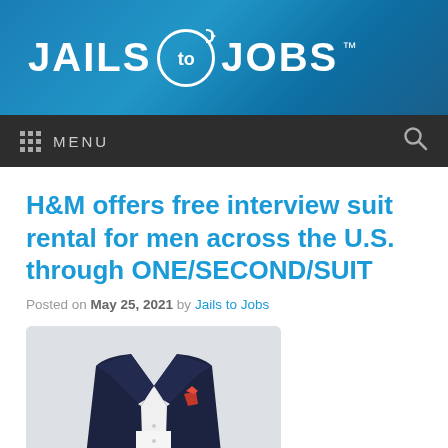[Figure (logo): Jails to Jobs logo — white bold text on blue gradient background with a circled arrow icon between 'JAILS' and 'JOBS' and a TM mark]
MENU
H&M offers free interview suit rental for men across the U.S. through ONE/SECOND/SUIT
Posted on May 25, 2021 by Jails to Jobs
[Figure (photo): A dark navy blue suit jacket with a red pocket square and a white dress shirt, displayed against a light grey background]